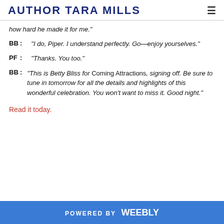AUTHOR TARA MILLS
how hard he made it for me."
BB:   "I do, Piper. I understand perfectly. Go—enjoy yourselves."
PF:    "Thanks. You too."
BB:  "This is Betty Bliss for Coming Attractions, signing off. Be sure to tune in tomorrow for all the details and highlights of this wonderful celebration. You won't want to miss it. Good night."
Read it today.
POWERED BY weebly